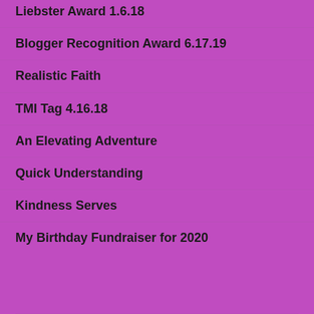Liebster Award 1.6.18
Blogger Recognition Award 6.17.19
Realistic Faith
TMI Tag 4.16.18
An Elevating Adventure
Quick Understanding
Kindness Serves
My Birthday Fundraiser for 2020